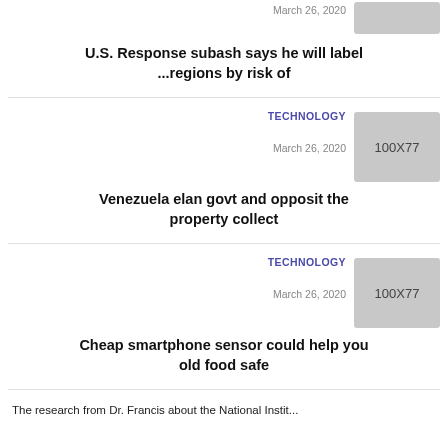March 26, 2020
[Figure (photo): Placeholder image 100x77]
U.S. Response subash says he will label ...regions by risk of
TECHNOLOGY
March 26, 2020
[Figure (photo): Placeholder image 100x77]
Venezuela elan govt and opposit the property collect
TECHNOLOGY
March 26, 2020
[Figure (photo): Placeholder image 100x77]
Cheap smartphone sensor could help you old food safe
The research from Dr. Francis about the National Instit...